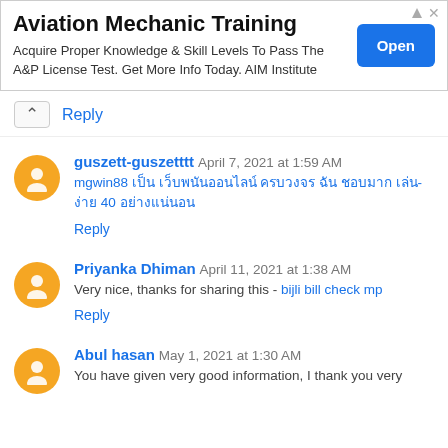[Figure (other): Advertisement banner for Aviation Mechanic Training with an Open button]
Reply
guszett-guszetttt April 7, 2021 at 1:59 AM
mgwin88 [Thai text] 40 [Thai text]
Reply
Priyanka Dhiman April 11, 2021 at 1:38 AM
Very nice, thanks for sharing this - bijli bill check mp
Reply
Abul hasan May 1, 2021 at 1:30 AM
You have given very good information, I thank you very